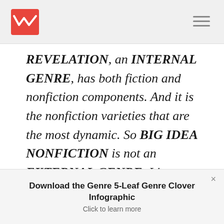[Navigation bar with logo and hamburger menu]
REVELATION, an INTERNAL GENRE, has both fiction and nonfiction components. And it is the nonfiction varieties that are the most dynamic. So BIG IDEA NONFICTION is not an EXTERNAL GENRE. It's an INTERNAL ONE.
When I first read this comment, it was a big
Download the Genre 5-Leaf Genre Clover Infographic
Click to learn more